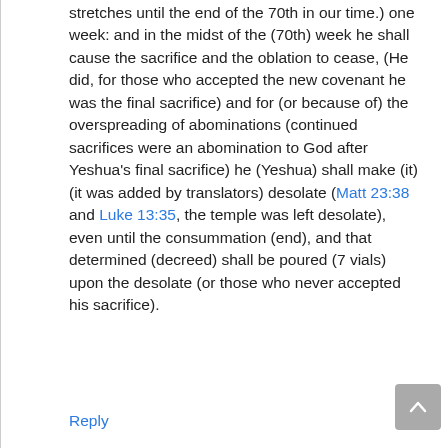stretches until the end of the 70th in our time.) one week: and in the midst of the (70th) week he shall cause the sacrifice and the oblation to cease, (He did, for those who accepted the new covenant he was the final sacrifice) and for (or because of) the overspreading of abominations (continued sacrifices were an abomination to God after Yeshua's final sacrifice) he (Yeshua) shall make (it) (it was added by translators) desolate (Matt 23:38 and Luke 13:35, the temple was left desolate), even until the consummation (end), and that determined (decreed) shall be poured (7 vials) upon the desolate (or those who never accepted his sacrifice).
Reply